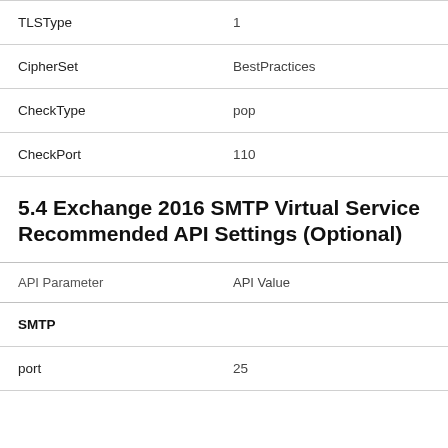| API Parameter | API Value |
| --- | --- |
| TLSType | 1 |
| CipherSet | BestPractices |
| CheckType | pop |
| CheckPort | 110 |
5.4 Exchange 2016 SMTP Virtual Service Recommended API Settings (Optional)
| API Parameter | API Value |
| --- | --- |
| SMTP |  |
| port | 25 |